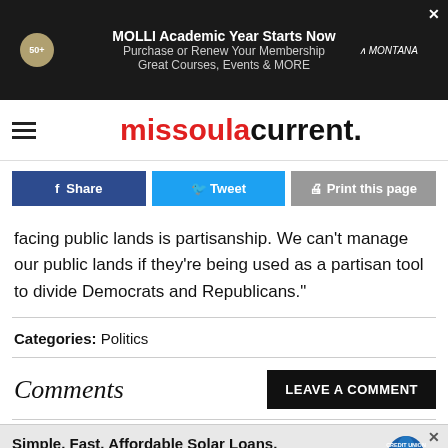[Figure (other): MOLLI advertisement banner: 'MOLLI Academic Year Starts Now / Purchase or Renew Your Membership / Great Courses, Events & MORE' with Montana logo]
missoula current.
[Figure (other): Social sharing buttons: Share (Facebook), Tweet (Twitter), Print this page]
facing public lands is partisanship. We can't manage our public lands if they're being used as a partisan tool to divide Democrats and Republicans."
Categories: Politics
Comments
[Figure (other): Bottom advertisement: Simple. Fast. Affordable Solar Loans. Apply today. Clearwater Credit Union]